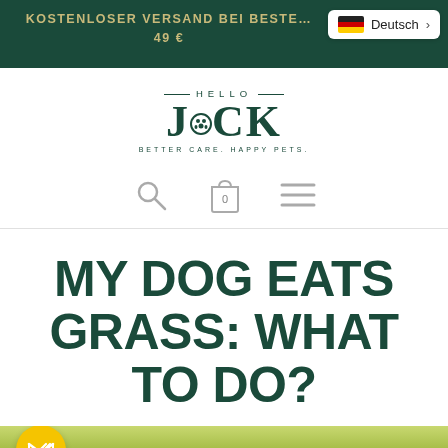KOSTENLOSER VERSAND BEI BESTELLUNGEN ÜBER 49 €
[Figure (screenshot): Language selector showing German flag and 'Deutsch' label with right arrow]
[Figure (logo): Hello Jack logo — HELLO above JACK in dark green serif font with paw print dot, tagline BETTER CARE. HAPPY PETS.]
[Figure (infographic): Navigation icons: search magnifying glass, shopping bag with 0, hamburger menu]
MY DOG EATS GRASS: WHAT TO DO?
[Figure (photo): Bottom partial image showing green grass background with chat/checkmark badge icon in yellow circle at bottom left]